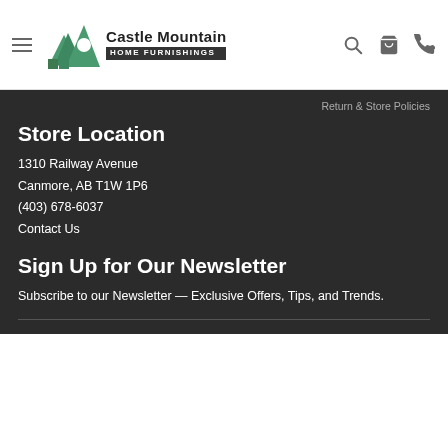Castle Mountain Home Furnishings
Return & Store Policies
Store Location
1310 Railway Avenue
Canmore, AB T1W 1P6
(403) 678-6037
Contact Us
Sign Up for Our Newsletter
Subscribe to our Newsletter — Exclusive Offers, Tips, and Trends.